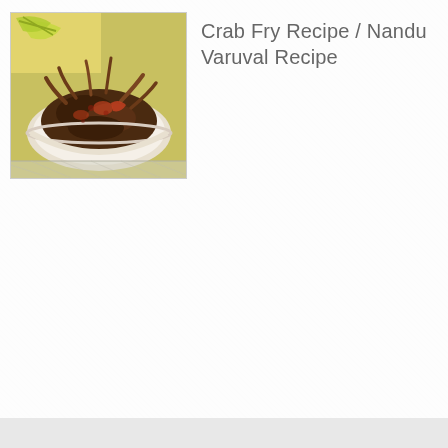[Figure (photo): Thumbnail photo of a bowl of Crab Fry (Nandu Varuval) — dark spiced crab pieces in a white bowl with yellow and green garnish visible in the background]
Crab Fry Recipe / Nandu Varuval Recipe